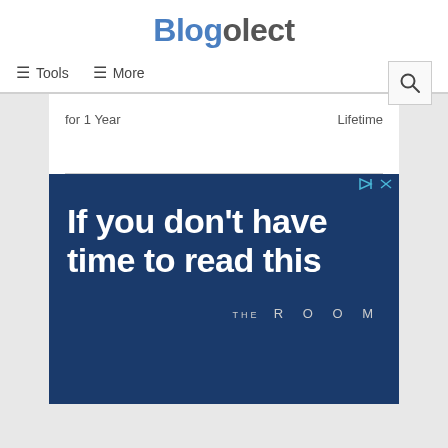Blogolect
≡ Tools   ≡ More
for 1 Year    Lifetime
[Figure (screenshot): Advertisement banner with dark blue background. Large white bold text reads 'If you don't have time to read this'. Bottom right shows 'THE ROOM' branding in spaced letters.]